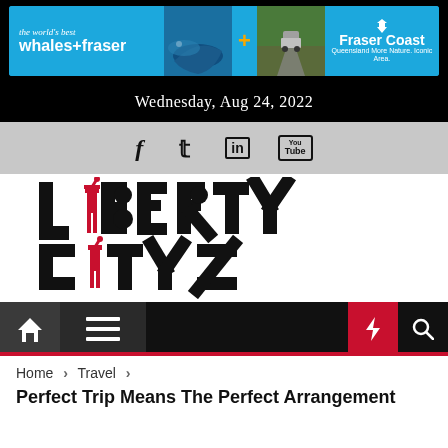[Figure (infographic): Banner advertisement for Fraser Coast Queensland tourism — 'the world's best whales+fraser' — showing a whale underwater, a plus sign, a 4WD on a dirt road, and the Fraser Coast Queensland logo on a blue background.]
Wednesday, Aug 24, 2022
[Figure (infographic): Social media icons: Facebook (f), Twitter (bird/arrow), LinkedIn (in), YouTube (You Tube box)]
[Figure (logo): Liberty Citys logo — bold black block letters with red Statue of Liberty figure replacing the I in LIBERTY, and a red figure in CITYS]
[Figure (infographic): Navigation bar with home icon, hamburger menu, moon/dark-mode icon, red lightning bolt icon, and search icon]
Home > Travel > Perfect Trip Means The Perfect Arrangement
Perfect Trip Means The Perfect Arrangement